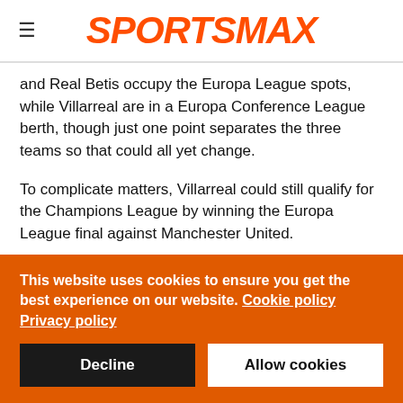SPORTSMAX
and Real Betis occupy the Europa League spots, while Villarreal are in a Europa Conference League berth, though just one point separates the three teams so that could all yet change.
To complicate matters, Villarreal could still qualify for the Champions League by winning the Europa League final against Manchester United.
At the bottom end of the division, Eibar are already relegated and they will be joined by two of Valladolid, Elche or Huesca.
This website uses cookies to ensure you get the best experience on our website. Cookie policy
Privacy policy
Decline
Allow cookies